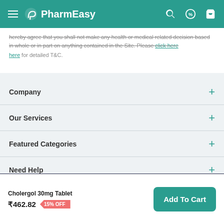PharmEasy
hereby agree that you shall not make any health or medical related decision based in whole or in part on anything contained in the Site. Please click here for detailed T&C.
Company
Our Services
Featured Categories
Need Help
Policy Info
Browse offers and get FLAT 15% OFF
Cholergol 30mg Tablet ₹462.82 15% OFF Add To Cart